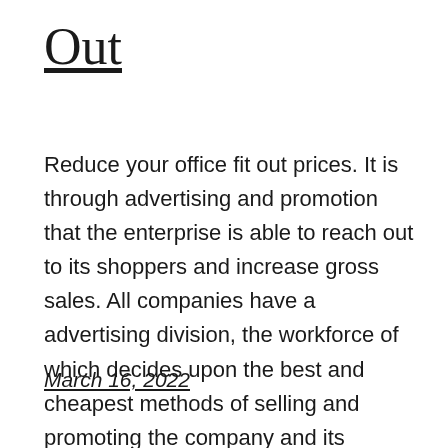Out
Reduce your office fit out prices. It is through advertising and promotion that the enterprise is able to reach out to its shoppers and increase gross sales. All companies have a advertising division, the workforce of which decides upon the best and cheapest methods of selling and promoting the company and its products. By advertising [...]
March 16, 2022